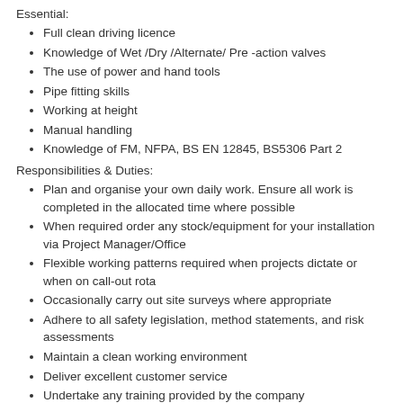Essential:
Full clean driving licence
Knowledge of Wet /Dry /Alternate/ Pre -action valves
The use of power and hand tools
Pipe fitting skills
Working at height
Manual handling
Knowledge of FM, NFPA, BS EN 12845, BS5306 Part 2
Responsibilities & Duties:
Plan and organise your own daily work. Ensure all work is completed in the allocated time where possible
When required order any stock/equipment for your installation via Project Manager/Office
Flexible working patterns required when projects dictate or when on call-out rota
Occasionally carry out site surveys where appropriate
Adhere to all safety legislation, method statements, and risk assessments
Maintain a clean working environment
Deliver excellent customer service
Undertake any training provided by the company